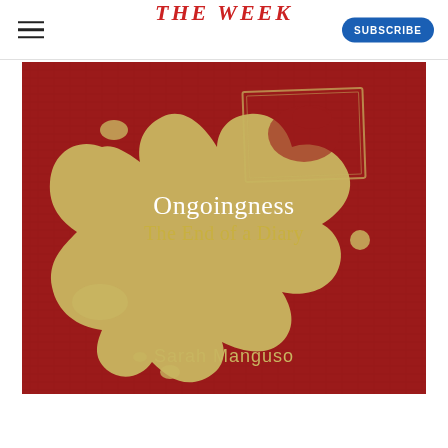THE WEEK
[Figure (illustration): Book cover of 'Ongoingness: The End of a Diary' by Sarah Manguso. Dark red/crimson background with a linen texture, featuring a large golden-tan irregular ink splatter/blob shape in the center. Text 'Ongoingness' in white serif font and 'The End of a Diary' in golden-tan below it appear within the blob shape. Author name 'Sarah Manguso' appears at the bottom in golden-tan sans-serif. A rectangular outline in the upper-right portion overlaps the blob shape.]